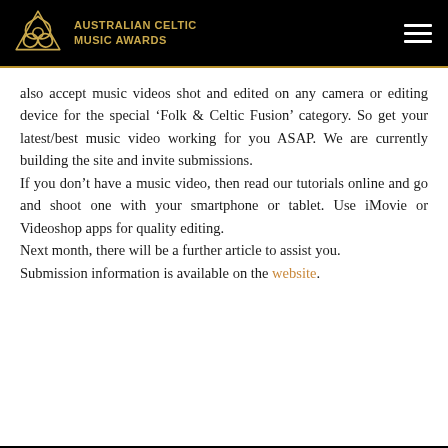AUSTRALIAN CELTIC MUSIC AWARDS
also accept music videos shot and edited on any camera or editing device for the special ‘Folk & Celtic Fusion’ category. So get your latest/best music video working for you ASAP. We are currently building the site and invite submissions.
If you don’t have a music video, then read our tutorials online and go and shoot one with your smartphone or tablet. Use iMovie or Videoshop apps for quality editing.
Next month, there will be a further article to assist you.
Submission information is available on the website.